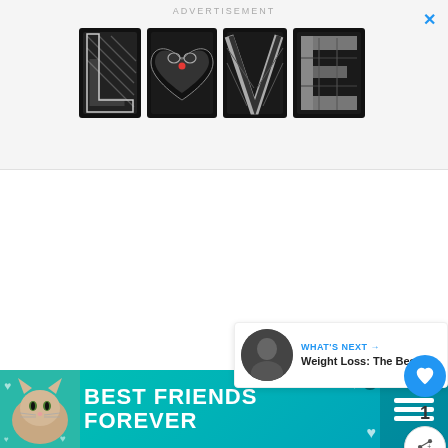ADVERTISEMENT
[Figure (illustration): Decorative LOVE text graphic in black and white comic/sketch style with a heart shape in the letter O, with a small red accent. Blue X close button in top right corner.]
[Figure (illustration): Floating UI panel: blue circle heart/like button, number 1 count, share button with plus icon]
1
- Terms
[Figure (photo): What's Next card with circular thumbnail photo of person in gym, text: WHAT'S NEXT → Weight Loss: The Best...]
WHAT'S NEXT → Weight Loss: The Best...
[Figure (illustration): Bottom advertisement banner with teal/turquoise background, cat photo, BEST FRIENDS FOREVER text in white bold, heart decorations, and app logo area on right with three bars icon]